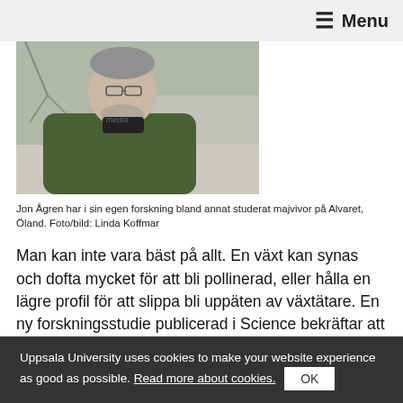≡ Menu
[Figure (photo): Portrait photo of a middle-aged man with glasses and grey beard wearing a green fleece jacket, standing outdoors with bare trees and a blurred background, at Alvaret, Öland.]
Jon Ågren har i sin egen forskning bland annat studerat majvivor på Alvaret, Öland. Foto/bild: Linda Koffmar
Man kan inte vara bäst på allt. En växt kan synas och dofta mycket för att bli pollinerad, eller hålla en lägre profil för att slippa bli uppäten av växtätare. En ny forskningsstudie publicerad i Science bekräftar att växter är mästare på att
Uppsala University uses cookies to make your website experience as good as possible. Read more about cookies.